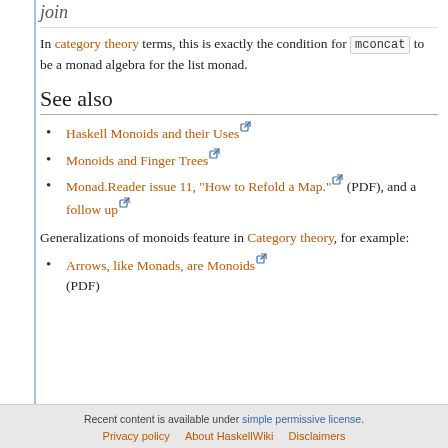join
In category theory terms, this is exactly the condition for mconcat to be a monad algebra for the list monad.
See also
Haskell Monoids and their Uses [external link]
Monoids and Finger Trees [external link]
Monad.Reader issue 11, "How to Refold a Map." [external link] (PDF), and a follow up [external link]
Generalizations of monoids feature in Category theory, for example:
Arrows, like Monads, are Monoids [external link] (PDF)
Recent content is available under simple permissive license. | Privacy policy | About HaskellWiki | Disclaimers